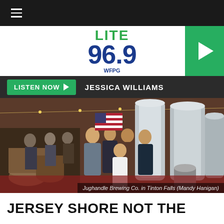[Figure (logo): LITE 96.9 WFPG radio station logo with green and blue text]
LISTEN NOW  JESSICA WILLIAMS
[Figure (photo): Group of five people posing and toasting inside Jughandle Brewing Co. in Tinton Falls, surrounded by large stainless steel brewing tanks and barrels]
Jughandle Brewing Co. in Tinton Falls (Mandy Hanigan)
JERSEY SHORE NOT THE